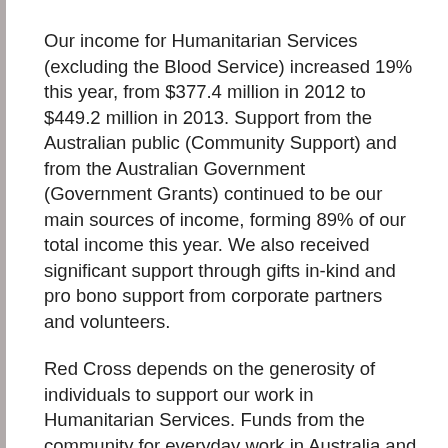Our income for Humanitarian Services (excluding the Blood Service) increased 19% this year, from $377.4 million in 2012 to $449.2 million in 2013. Support from the Australian public (Community Support) and from the Australian Government (Government Grants) continued to be our main sources of income, forming 89% of our total income this year. We also received significant support through gifts in-kind and pro bono support from corporate partners and volunteers.
Red Cross depends on the generosity of individuals to support our work in Humanitarian Services. Funds from the community for everyday work in Australia and further afield (excluding disaster appeals) continue to